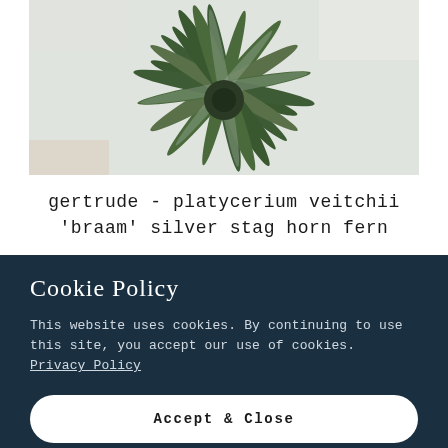[Figure (photo): Close-up photograph of a Platycerium veitchii 'Braam' silver stag horn fern plant, showing multiple silvery-green elongated fronds radiating outward against a light background]
gertrude - platycerium veitchii 'braam' silver stag horn fern
Cookie Policy
This website uses cookies. By continuing to use this site, you accept our use of cookies. Privacy Policy
Accept & Close